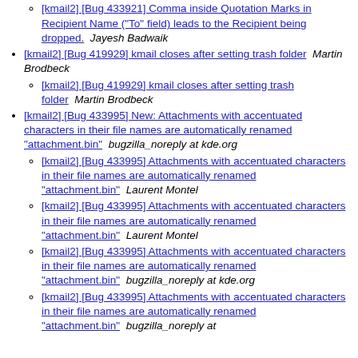Marks in Recipient Name ("To" field) leads to the Recipient being dropped.  Laurent Montel
[kmail2] [Bug 433921] Comma inside Quotation Marks in Recipient Name ("To" field) leads to the Recipient being dropped.  Jayesh Badwaik
[kmail2] [Bug 419929] kmail closes after setting trash folder  Martin Brodbeck
[kmail2] [Bug 419929] kmail closes after setting trash folder  Martin Brodbeck
[kmail2] [Bug 433995] New: Attachments with accentuated characters in their file names are automatically renamed "attachment.bin"  bugzilla_noreply at kde.org
[kmail2] [Bug 433995] Attachments with accentuated characters in their file names are automatically renamed "attachment.bin"  Laurent Montel
[kmail2] [Bug 433995] Attachments with accentuated characters in their file names are automatically renamed "attachment.bin"  Laurent Montel
[kmail2] [Bug 433995] Attachments with accentuated characters in their file names are automatically renamed "attachment.bin"  bugzilla_noreply at kde.org
[kmail2] [Bug 433995] Attachments with accentuated characters in their file names are automatically renamed "attachment.bin"  bugzilla_noreply at